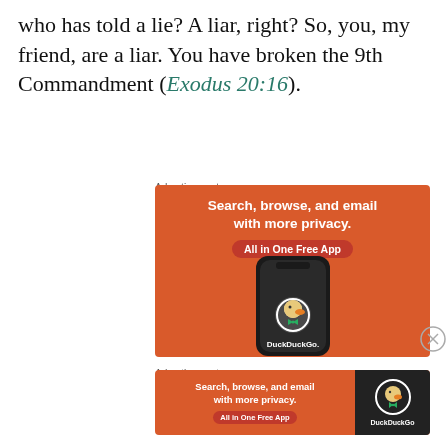who has told a lie? A liar, right? So, you, my friend, are a liar. You have broken the 9th Commandment (Exodus 20:16).
Advertisements
[Figure (photo): DuckDuckGo advertisement — large vertical banner. Orange background. Text: 'Search, browse, and email with more privacy. All in One Free App'. Shows a smartphone with DuckDuckGo logo and text.]
Advertisements
[Figure (photo): DuckDuckGo advertisement — small horizontal banner. Orange background with text 'Search, browse, and email with more privacy. All in One Free App' and DuckDuckGo logo on dark right panel.]